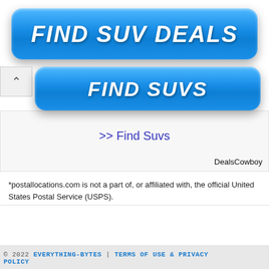[Figure (screenshot): Blue gradient button with white bold italic text reading FIND SUV DEALS]
[Figure (screenshot): Blue gradient button with white bold italic text reading FIND SUVS, with a caret/collapse box on the left]
>> Find Suvs
DealsCowboy
*postallocations.com is not a part of, or affiliated with, the official United States Postal Service (USPS).
© 2022 EVERYTHING-BYTES | TERMS OF USE & PRIVACY POLICY